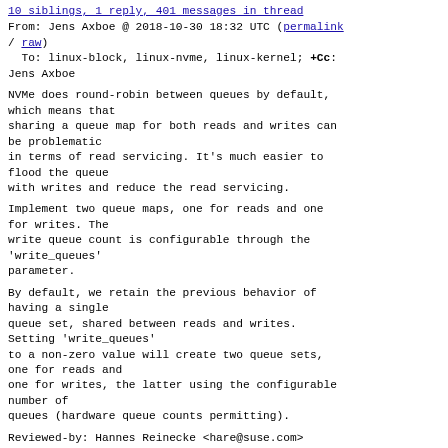10 siblings, 1 reply, 401 messages in thread
From: Jens Axboe @ 2018-10-30 18:32 UTC (permalink / raw)
  To: linux-block, linux-nvme, linux-kernel; +Cc: Jens Axboe
NVMe does round-robin between queues by default, which means that
sharing a queue map for both reads and writes can be problematic
in terms of read servicing. It's much easier to flood the queue
with writes and reduce the read servicing.
Implement two queue maps, one for reads and one for writes. The
write queue count is configurable through the 'write_queues'
parameter.
By default, we retain the previous behavior of having a single
queue set, shared between reads and writes. Setting 'write_queues'
to a non-zero value will create two queue sets, one for reads and
one for writes, the latter using the configurable number of
queues (hardware queue counts permitting).
Reviewed-by: Hannes Reinecke <hare@suse.com>